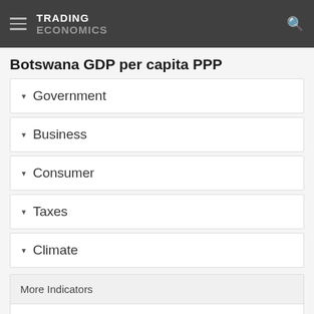TRADING ECONOMICS
Botswana GDP per capita PPP
Government
Business
Consumer
Taxes
Climate
More Indicators
National Statistics
World Bank